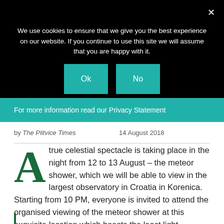[Figure (screenshot): Cookie consent overlay with black background, teal 'Ok' and 'No' buttons, close X, and teal privacy statement bar reading 'For more information read our Privacy Statement']
by The Plitvice Times   14 August 2018
A true celestial spectacle is taking place in the night from 12 to 13 August – the meteor shower, which we will be able to view in the largest observatory in Croatia in Korenica. Starting from 10 PM, everyone is invited to attend the organised viewing of the meteor shower at this exquisite location which boasts the least light pollution in Croatia.